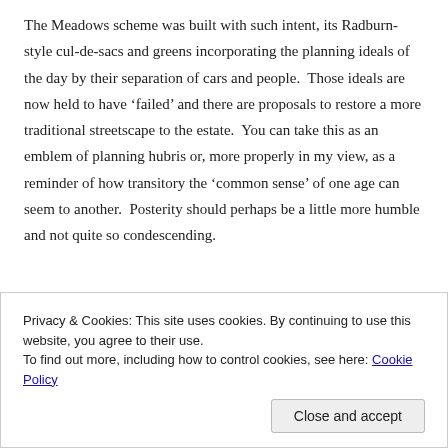The Meadows scheme was built with such intent, its Radburn-style cul-de-sacs and greens incorporating the planning ideals of the day by their separation of cars and people.  Those ideals are now held to have ‘failed’ and there are proposals to restore a more traditional streetscape to the estate.  You can take this as an emblem of planning hubris or, more properly in my view, as a reminder of how transitory the ‘common sense’ of one age can seem to another.  Posterity should perhaps be a little more humble and not quite so condescending.
Privacy & Cookies: This site uses cookies. By continuing to use this website, you agree to their use.
To find out more, including how to control cookies, see here: Cookie Policy
Close and accept
now like halcyon days – a broad consensus on the